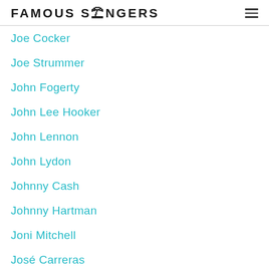FAMOUS SINGERS
Joe Cocker
Joe Strummer
John Fogerty
John Lee Hooker
John Lennon
John Lydon
Johnny Cash
Johnny Hartman
Joni Mitchell
José Carreras
Justin Bieber